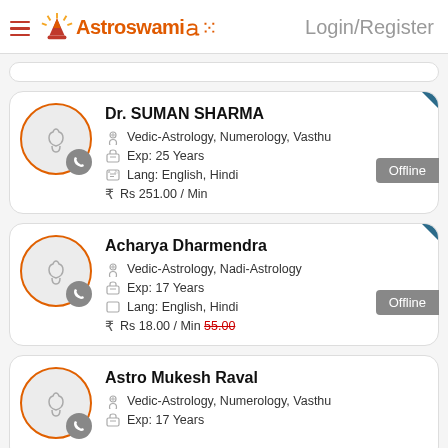Astroswami | Login/Register
Dr. SUMAN SHARMA — Vedic-Astrology, Numerology, Vasthu | Exp: 25 Years | Lang: English, Hindi | Rs 251.00 / Min | Offline
Acharya Dharmendra — Vedic-Astrology, Nadi-Astrology | Exp: 17 Years | Lang: English, Hindi | Rs 18.00 / Min 55.00 (strikethrough) | Offline
Astro Mukesh Raval — Vedic-Astrology, Numerology, Vasthu | Exp: 17 Years